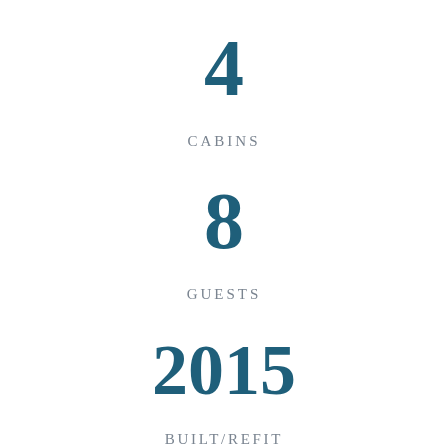4
CABINS
8
GUESTS
2015
BUILT/REFIT